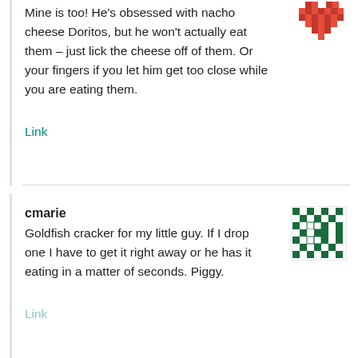Mine is too! He's obsessed with nacho cheese Doritos, but he won't actually eat them – just lick the cheese off of them. Or your fingers if you let him get too close while you are eating them.
Link
cmarie
Goldfish cracker for my little guy. If I drop one I have to get it right away or he has it eating in a matter of seconds. Piggy.
Link